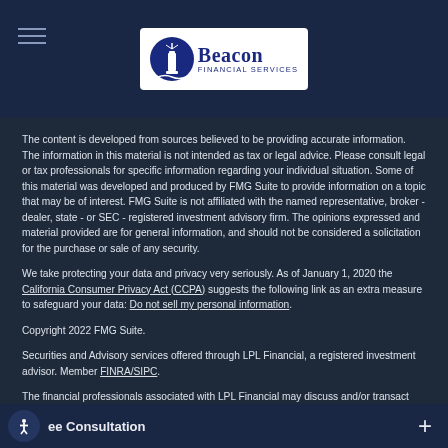Beacon Financial Services logo and navigation header
The content is developed from sources believed to be providing accurate information. The information in this material is not intended as tax or legal advice. Please consult legal or tax professionals for specific information regarding your individual situation. Some of this material was developed and produced by FMG Suite to provide information on a topic that may be of interest. FMG Suite is not affiliated with the named representative, broker - dealer, state - or SEC - registered investment advisory firm. The opinions expressed and material provided are for general information, and should not be considered a solicitation for the purchase or sale of any security.
We take protecting your data and privacy very seriously. As of January 1, 2020 the California Consumer Privacy Act (CCPA) suggests the following link as an extra measure to safeguard your data: Do not sell my personal information.
Copyright 2022 FMG Suite.
Securities and Advisory services offered through LPL Financial, a registered investment advisor. Member FINRA/SIPC.
The financial professionals associated with LPL Financial may discuss and/or transact business only with residents of the states in which they are properly
ee Consultation +